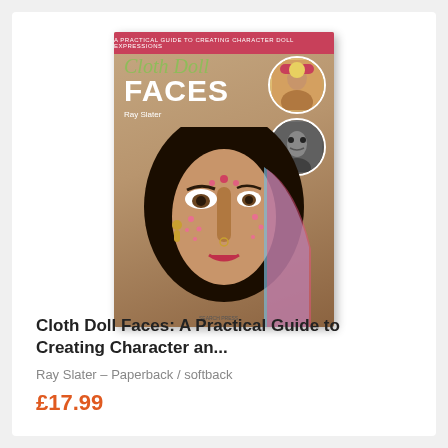[Figure (photo): Book cover of 'Cloth Doll Faces: A Practical Guide to Creating Character an...' by Ray Slater, showing a detailed cloth doll face with dark hair, jewelry, and colorful head covering, with small circular inset photos of other dolls in the top right. Pink banner at top, Search Press logo at bottom.]
Cloth Doll Faces: A Practical Guide to Creating Character an...
Ray Slater – Paperback / softback
£17.99